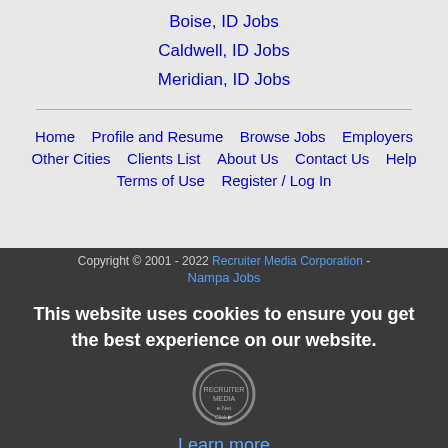Boise, ID Jobs
Caldwell, ID Jobs
Meridian, ID Jobs
Home  |  Profile and Resume  |  Browse Jobs  |  Employers
Other Cities  |  Clients List  |  About Us  |  Contact Us  |  Help
Terms of Use  |  Register / Log In
Copyright © 2001 - 2022 Recruiter Media Corporation - Nampa Jobs
This website uses cookies to ensure you get the best experience on our website.
Learn more
Got it!